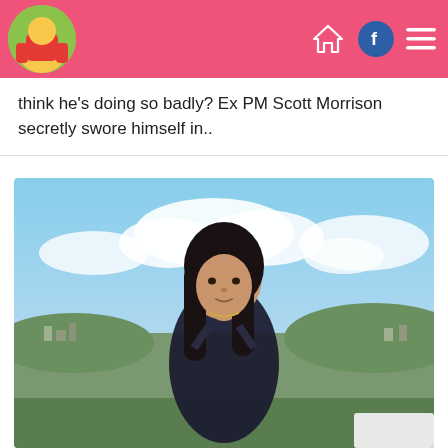[Figure (screenshot): Website header bar with pink background, circular avatar photo on left, and navigation icons (home, Facebook, hamburger menu) on right]
think he's doing so badly? Ex PM Scott Morrison secretly swore himself in..
[Figure (photo): Woman with long dark hair wearing a black halter top, standing outdoors with a cityscape and cloudy sky in the background]